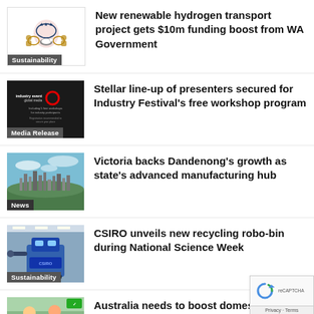[Figure (logo): WA Government crest/logo with Sustainability badge]
New renewable hydrogen transport project gets $10m funding boost from WA Government
[Figure (logo): Industry Festival logo with Media Release badge]
Stellar line-up of presenters secured for Industry Festival's free workshop program
[Figure (photo): Aerial skyline photo with News badge]
Victoria backs Dandenong's growth as state's advanced manufacturing hub
[Figure (photo): Recycling robot photo with Sustainability badge]
CSIRO unveils new recycling robo-bin during National Science Week
[Figure (photo): People in lab/manufacturing setting]
Australia needs to boost domestic manufacturing, says PM Anthony